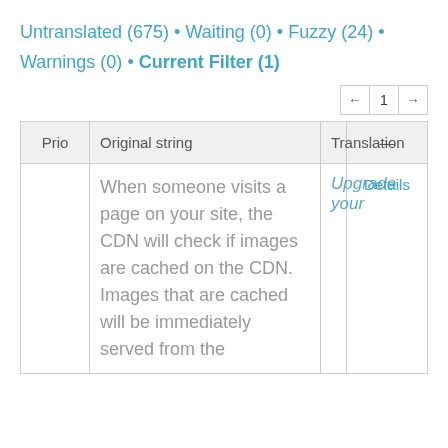Untranslated (675) • Waiting (0) • Fuzzy (24) • Warnings (0) • Current Filter (1)
| Prio | Original string | Translation | — |
| --- | --- | --- | --- |
|  | When someone visits a page on your site, the CDN will check if images are cached on the CDN. Images that are cached will be immediately served from the |  | Details |